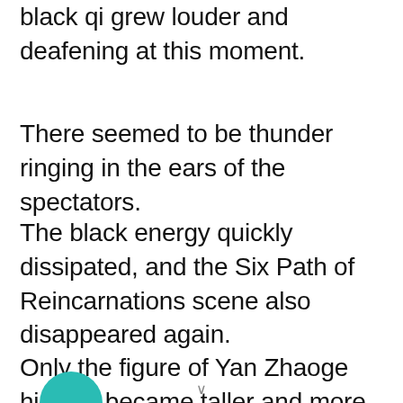black qi grew louder and deafening at this moment.
There seemed to be thunder ringing in the ears of the spectators.
The black energy quickly dissipated, and the Six Path of Reincarnations scene also disappeared again.
Only the figure of Yan Zhaoge himself became taller and more terrifying.